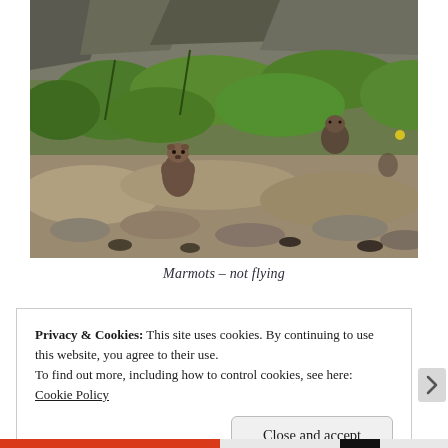[Figure (photo): Two marmots in a rocky, grassy hillside landscape with boulders and green shrubs. One marmot is standing upright in the foreground left, another is visible in the background right.]
Marmots – not flying
Privacy & Cookies: This site uses cookies. By continuing to use this website, you agree to their use.
To find out more, including how to control cookies, see here:
Cookie Policy
Close and accept